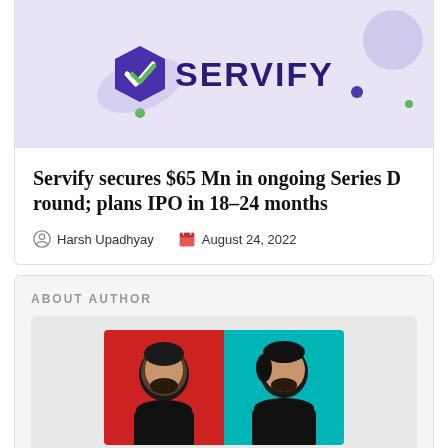[Figure (logo): Servify brand logo on a light purple/lavender background with decorative blobs and circles. The logo shows a purple hexagonal shield with a white checkmark, next to the text SERVIFY in dark purple bold letters.]
Servify secures $65 Mn in ongoing Series D round; plans IPO in 18–24 months
Harsh Upadhyay   August 24, 2022
ABOUT AUTHOR
[Figure (photo): Two illustrated/stylized portrait photos of the authors side by side. Left portrait has a red background, right portrait has a teal/cyan background. Both show young men with beards.]